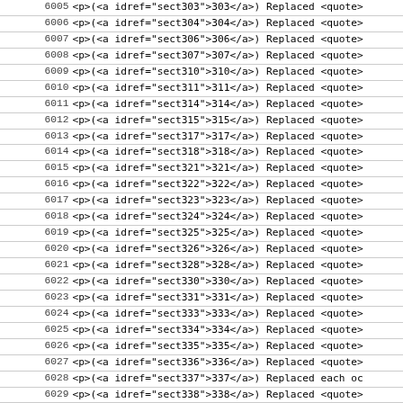| line | code | description |
| --- | --- | --- |
| 6005 | <p>(<a idref="sect303">303</a>) Replaced <quote> |  |
| 6006 | <p>(<a idref="sect304">304</a>) Replaced <quote> |  |
| 6007 | <p>(<a idref="sect306">306</a>) Replaced <quote> |  |
| 6008 | <p>(<a idref="sect307">307</a>) Replaced <quote> |  |
| 6009 | <p>(<a idref="sect310">310</a>) Replaced <quote> |  |
| 6010 | <p>(<a idref="sect311">311</a>) Replaced <quote> |  |
| 6011 | <p>(<a idref="sect314">314</a>) Replaced <quote> |  |
| 6012 | <p>(<a idref="sect315">315</a>) Replaced <quote> |  |
| 6013 | <p>(<a idref="sect317">317</a>) Replaced <quote> |  |
| 6014 | <p>(<a idref="sect318">318</a>) Replaced <quote> |  |
| 6015 | <p>(<a idref="sect321">321</a>) Replaced <quote> |  |
| 6016 | <p>(<a idref="sect322">322</a>) Replaced <quote> |  |
| 6017 | <p>(<a idref="sect323">323</a>) Replaced <quote> |  |
| 6018 | <p>(<a idref="sect324">324</a>) Replaced <quote> |  |
| 6019 | <p>(<a idref="sect325">325</a>) Replaced <quote> |  |
| 6020 | <p>(<a idref="sect326">326</a>) Replaced <quote> |  |
| 6021 | <p>(<a idref="sect328">328</a>) Replaced <quote> |  |
| 6022 | <p>(<a idref="sect330">330</a>) Replaced <quote> |  |
| 6023 | <p>(<a idref="sect331">331</a>) Replaced <quote> |  |
| 6024 | <p>(<a idref="sect333">333</a>) Replaced <quote> |  |
| 6025 | <p>(<a idref="sect334">334</a>) Replaced <quote> |  |
| 6026 | <p>(<a idref="sect335">335</a>) Replaced <quote> |  |
| 6027 | <p>(<a idref="sect336">336</a>) Replaced <quote> |  |
| 6028 | <p>(<a idref="sect337">337</a>) Replaced each oc |  |
| 6029 | <p>(<a idref="sect338">338</a>) Replaced <quote> |  |
| 6030 | <p>(<a idref="sect339">339</a>) Replaced <quote> |  |
| 6031 | <p>(<a idref="sect340">340</a>) Replaced <quote> |  |
| 6032 | <p>(<a idref="sect341">341</a>) Replaced <quote> |  |
| 6033 | <p>(<a idref="sect344">344</a>) Replaced <quote> |  |
| 6034 | <p>(<a idref="sect345">345</a>) Replaced <quote> |  |
| 6035 | <p>(<a idref="sect346">346</a>) Replaced <quote> |  |
| 6036 | <p>(<a idref="sect348">348</a>) Replaced <quote> |  |
| 6037 | <p>(<a idref="sect349">349</a>) Replaced <quote> |  |